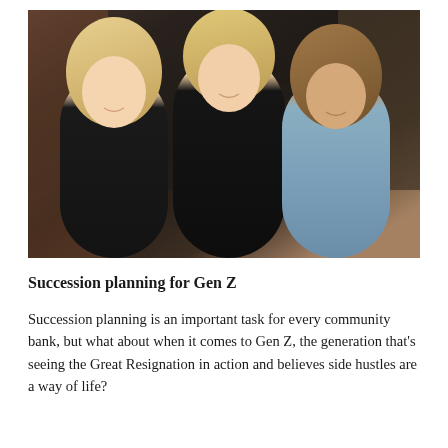[Figure (photo): Three women smiling, posed together indoors in what appears to be an office or business setting. The woman on the left has long blonde hair and wears a black top. The woman in the center has medium-length blonde hair and wears a black blazer. The woman on the right has wavy brown hair and wears a blue striped top.]
Succession planning for Gen Z
Succession planning is an important task for every community bank, but what about when it comes to Gen Z, the generation that’s seeing the Great Resignation in action and believes side hustles are a way of life?